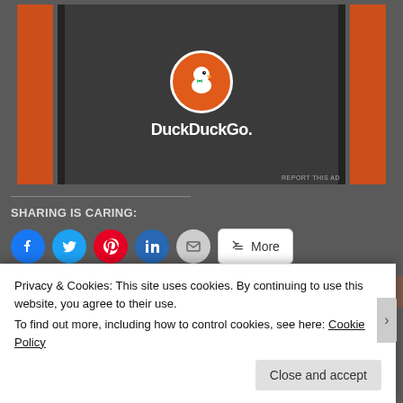[Figure (screenshot): DuckDuckGo advertisement banner with orange side bars and dark background, showing the DuckDuckGo duck logo in a white-bordered circle and the DuckDuckGo. text in white, with a 'REPORT THIS AD' label at bottom right]
SHARING IS CARING:
[Figure (screenshot): Row of social sharing buttons: Facebook (blue circle), Twitter (blue circle), Pinterest (red circle), LinkedIn (blue circle), Email (gray circle), and a More button]
[Figure (screenshot): Like button with star icon followed by a strip of blogger avatar thumbnails]
31 bloggers like this.
Privacy & Cookies: This site uses cookies. By continuing to use this website, you agree to their use.
To find out more, including how to control cookies, see here: Cookie Policy
Close and accept